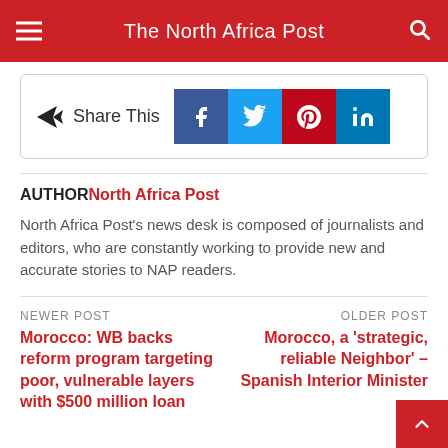The North Africa Post
[Figure (infographic): Share This box with social media buttons: Facebook, Twitter, Pinterest, LinkedIn]
AUTHOR North Africa Post
North Africa Post's news desk is composed of journalists and editors, who are constantly working to provide new and accurate stories to NAP readers.
NEWER POST
Morocco: WB backs reform program targeting poor, vulnerable layers with $500 million loan
OLDER POST
Morocco, a 'strategic, reliable Neighbor' – Spanish Interior Minister